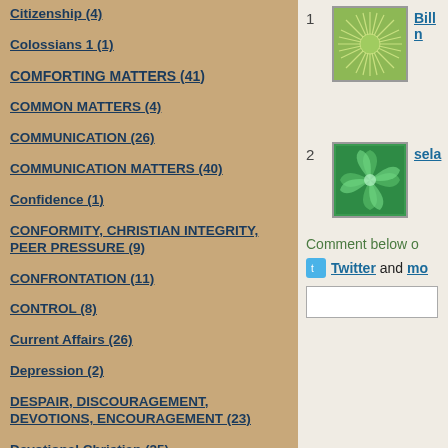Citizenship (4)
Colossians 1 (1)
COMFORTING MATTERS (41)
COMMON MATTERS (4)
COMMUNICATION (26)
COMMUNICATION MATTERS (40)
Confidence (1)
CONFORMITY, CHRISTIAN INTEGRITY, PEER PRESSURE (9)
CONFRONTATION (11)
CONTROL (8)
Current Affairs (26)
Depression (2)
DESPAIR, DISCOURAGEMENT, DEVOTIONS, ENCOURAGEMENT (23)
Devotional Christian (25)
[Figure (illustration): Rank 1 thumbnail: green starburst/mandala pattern on light green background]
Bill n
[Figure (illustration): Rank 2 thumbnail: green swirling pattern on green background]
sela
Comment below o
Twitter and mo